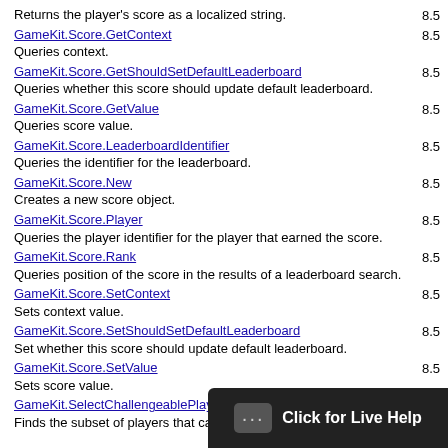Returns the player's score as a localized string.	8.5
GameKit.Score.GetContext
Queries context.	8.5
GameKit.Score.GetShouldSetDefaultLeaderboard
Queries whether this score should update default leaderboard.	8.5
GameKit.Score.GetValue
Queries score value.	8.5
GameKit.Score.LeaderboardIdentifier
Queries the identifier for the leaderboard.	8.5
GameKit.Score.New
Creates a new score object.	8.5
GameKit.Score.Player
Queries the player identifier for the player that earned the score.	8.5
GameKit.Score.Rank
Queries position of the score in the results of a leaderboard search.	8.5
GameKit.Score.SetContext
Sets context value.	8.5
GameKit.Score.SetShouldSetDefaultLeaderboard
Set whether this score should update default leaderboard.	8.5
GameKit.Score.SetValue
Sets score value.	8.5
GameKit.SelectChallengeablePlayers
Finds the subset of players that can earn	8.5